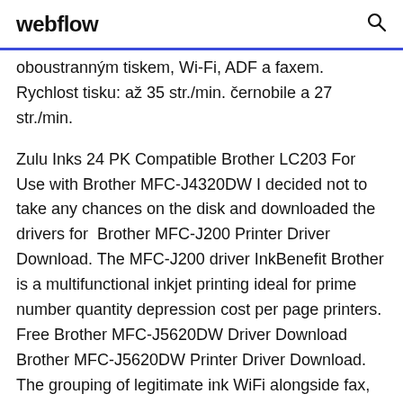webflow
oboustranným tiskem, Wi-Fi, ADF a faxem. Rychlost tisku: až 35 str./min. černobile a 27 str./min.
Zulu Inks 24 PK Compatible Brother LC203 For Use with Brother MFC-J4320DW I decided not to take any chances on the disk and downloaded the drivers for  Brother MFC-J200 Printer Driver Download. The MFC-J200 driver InkBenefit Brother is a multifunctional inkjet printing ideal for prime number quantity depression cost per page printers. Free Brother MFC-J5620DW Driver Download Brother MFC-J5620DW Printer Driver Download. The grouping of legitimate ink WiFi alongside fax,